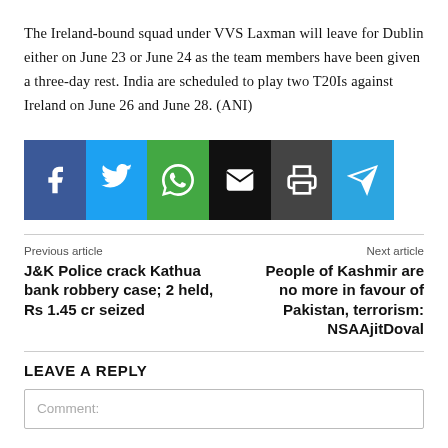The Ireland-bound squad under VVS Laxman will leave for Dublin either on June 23 or June 24 as the team members have been given a three-day rest. India are scheduled to play two T20Is against Ireland on June 26 and June 28. (ANI)
[Figure (infographic): Social share buttons: Facebook (dark blue), Twitter (light blue), WhatsApp (green), Email (black), Print (dark grey), Telegram (bright blue)]
Previous article
J&K Police crack Kathua bank robbery case; 2 held, Rs 1.45 cr seized
Next article
People of Kashmir are no more in favour of Pakistan, terrorism: NSAAjitDoval
LEAVE A REPLY
Comment: